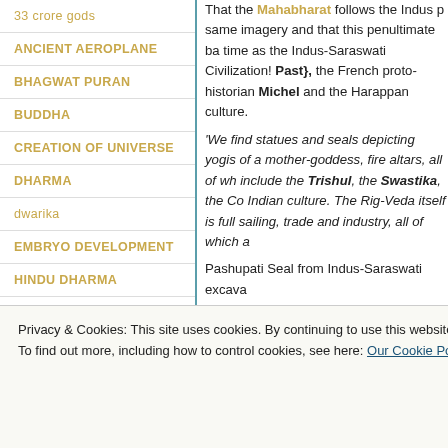33 crore gods
ANCIENT AEROPLANE
BHAGWAT PURAN
BUDDHA
CREATION OF UNIVERSE
DHARMA
dwarika
EMBRYO DEVELOPMENT
HINDU DHARMA
HINDUISM AND
That the Mahabharat follows the Indus same imagery and that this penultimate ba time as the Indus-Saraswati Civilization! Past}, the French proto-historian Michel and the Harappan culture.
'We find statues and seals depicting yogis of a mother-goddess, fire altars, all of wh include the Trishul, the Swastika, the Co Indian culture. The Rig-Veda itself is full sailing, trade and industry, all of which a
Pashupati Seal from Indus-Saraswati excava
The Pashupati seal (2700 BCE) shows a surrounded by animals, sometimes with a
Privacy & Cookies: This site uses cookies. By continuing to use this website, you agree to their use. To find out more, including how to control cookies, see here: Our Cookie Policy